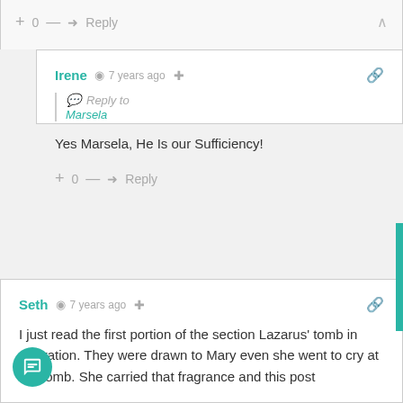+ 0 — → Reply ∧
Irene  7 years ago  [share] [link]
Reply to
Marsela
Yes Marsela, He Is our Sufficiency!
+ 0 — → Reply
Seth  7 years ago  [share] [link]
I just read the first portion of the section Lazarus' tomb in Adoration. They were drawn to Mary even she went to cry at the tomb. She carried that fragrance and this post